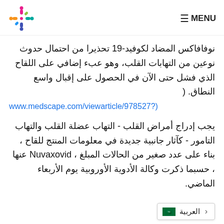MENU
نوفافاكس المضاد لكوفيد-19 تحذيرا من احتمال حدوث نوعين من التهابات القلب، وهو عبء إضافي على اللقاح الذي فشل حتى الآن في الحصول على إقبال واسع النطاق. (
www.medscape.com/viewarticle/978527?‏)
يجب إدراج أمراض القلب - التهاب عضلة القلب والتهاب التامور - كآثار جانبية جديدة في معلومات المنتج للقاح ، بناء على عدد صغير من الحالات المبلغ ، Nuvaxovid عنها ، حسبما ذكرت وكالة الأدوية الأوروبية يوم الأربعاء الماضي.
العربية